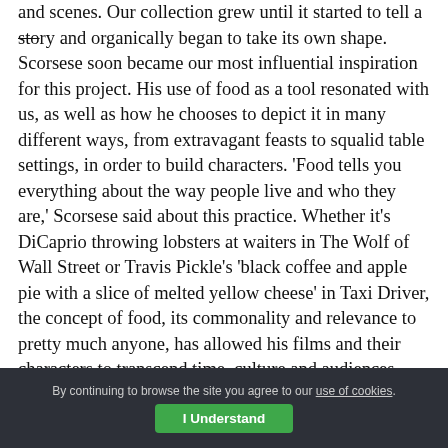and scenes. Our collection grew until it started to tell a story and organically began to take its own shape. Scorsese soon became our most influential inspiration for this project. His use of food as a tool resonated with us, as well as how he chooses to depict it in many different ways, from extravagant feasts to squalid table settings, in order to build characters. 'Food tells you everything about the way people live and who they are,' Scorsese said about this practice. Whether it's DiCaprio throwing lobsters at waiters in The Wolf of Wall Street or Travis Pickle's 'black coffee and apple pie with a slice of melted yellow cheese' in Taxi Driver, the concept of food, its commonality and relevance to pretty much anyone, has allowed his films and their characters to transcend time, culture and audiences. Cooking with Scorsese, as the project became known, has morphed into a series of
By continuing to browse the site you agree to our use of cookies. I Understand